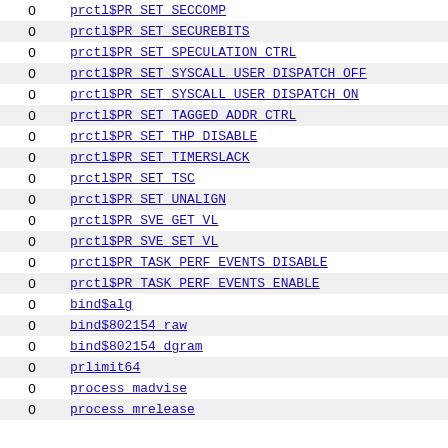|  |  |
| --- | --- |
| 0 | prctl$PR_SET_SECCOMP |
| 0 | prctl$PR_SET_SECUREBITS |
| 0 | prctl$PR_SET_SPECULATION_CTRL |
| 0 | prctl$PR_SET_SYSCALL_USER_DISPATCH_OFF |
| 0 | prctl$PR_SET_SYSCALL_USER_DISPATCH_ON |
| 0 | prctl$PR_SET_TAGGED_ADDR_CTRL |
| 0 | prctl$PR_SET_THP_DISABLE |
| 0 | prctl$PR_SET_TIMERSLACK |
| 0 | prctl$PR_SET_TSC |
| 0 | prctl$PR_SET_UNALIGN |
| 0 | prctl$PR_SVE_GET_VL |
| 0 | prctl$PR_SVE_SET_VL |
| 0 | prctl$PR_TASK_PERF_EVENTS_DISABLE |
| 0 | prctl$PR_TASK_PERF_EVENTS_ENABLE |
| 0 | bind$alg |
| 0 | bind$802154_raw |
| 0 | bind$802154_dgram |
| 0 | prlimit64 |
| 0 | process_madvise |
| 0 | process_mrelease |